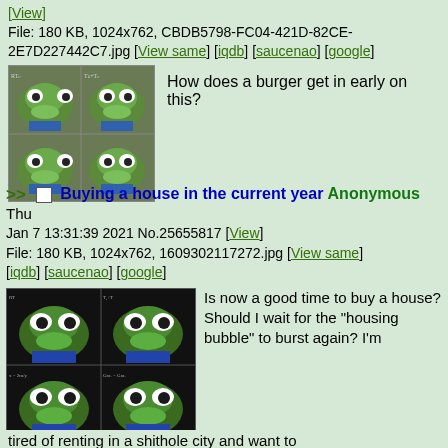[View]
File: 180 KB, 1024x762, CBDB5798-FC04-421D-82CE-2E7D227442C7.jpg [View same] [iqdb] [saucenao] [google]
[Figure (photo): 4-panel grid of Pepe the Frog meme image with math equations in background]
How does a burger get in early on this?
>> Buying a house in the current year Anonymous Thu Jan 7 13:31:39 2021 No.25655817 [View] File: 180 KB, 1024x762, 1609302117272.jpg [View same] [iqdb] [saucenao] [google]
[Figure (photo): 4-panel grid of Pepe the Frog meme image with math equations on dark background]
Is now a good time to buy a house? Should I wait for the "housing bubble" to burst again? I'm
tired of renting in a shithole city and want to